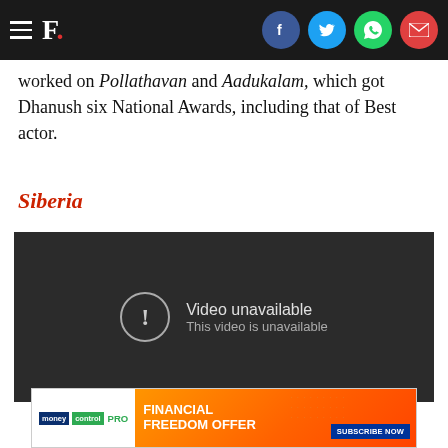F. (Firstpost logo with social share icons: Facebook, Twitter, WhatsApp, Email)
worked on Pollathavan and Aadukalam, which got Dhanush six National Awards, including that of Best actor.
Siberia
[Figure (screenshot): Embedded YouTube video player showing 'Video unavailable / This video is unavailable' error message on dark background]
[Figure (other): Moneycontrol PRO advertisement banner: FINANCIAL FREEDOM OFFER with SUBSCRIBE NOW button]